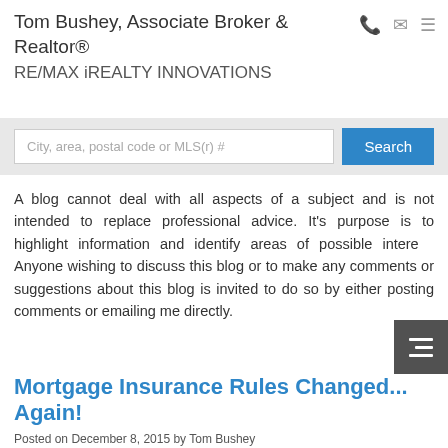Tom Bushey, Associate Broker & Realtor® RE/MAX iREALTY INNOVATIONS
[Figure (screenshot): Search bar with placeholder text 'City, area, postal code or MLS(r) #' and a blue Search button]
A blog cannot deal with all aspects of a subject and is not intended to replace professional advice. It's purpose is to highlight information and identify areas of possible interest. Anyone wishing to discuss this blog or to make any comments or suggestions about this blog is invited to do so by either posting comments or emailing me directly.
Mortgage Insurance Rules Changed... Again!
Posted on December 8, 2015 by Tom Bushey
Posted in: Buying a Home In Calgary, Mortgages, Selling a Home In